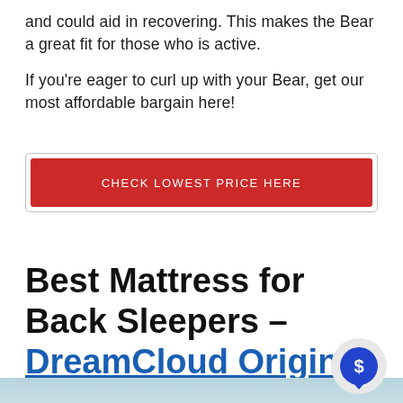and could aid in recovering. This makes the Bear a great fit for those who is active.

If you’re eager to curl up with your Bear, get our most affordable bargain here!
[Figure (other): Red button with text CHECK LOWEST PRICE HERE inside a light gray border]
Best Mattress for Back Sleepers – DreamCloud Original
[Figure (photo): Light blue/gray gradient image block at bottom of page with a blue dollar sign speech bubble badge in the lower right corner]